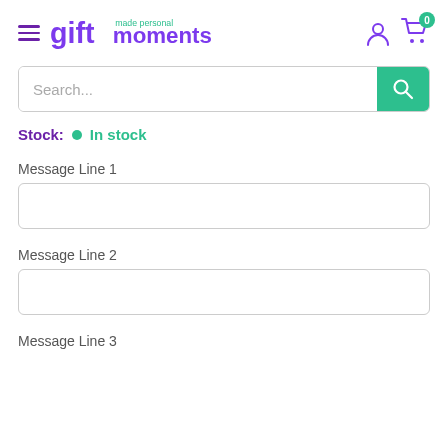gift moments — made personal
Search...
Stock: In stock
Message Line 1
Message Line 2
Message Line 3